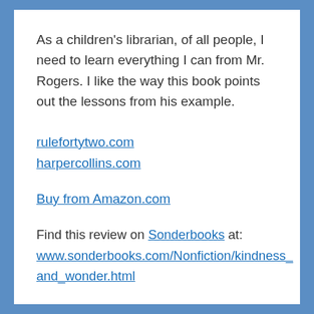As a children's librarian, of all people, I need to learn everything I can from Mr. Rogers. I like the way this book points out the lessons from his example.
rulefortytwo.com
harpercollins.com
Buy from Amazon.com
Find this review on Sonderbooks at: www.sonderbooks.com/Nonfiction/kindness_and_wonder.html